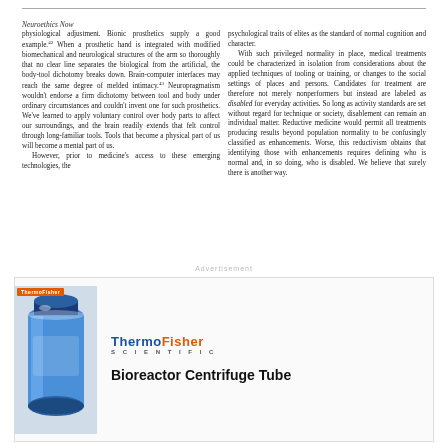Neuroethics Now
physiological adjustment. Bionic prosthetics supply a good example.42 When a prosthetic hand is integrated with modified biomechanical and neurological structures of the arm so thoroughly that no clear line separates the biological from the artificial, the body-tool dichotomy breaks down. Brain-computer interfaces may reach the same degree of melded intimacy.43 Neuropragmatism wouldn't endorse a firm dichotomy between tool and body under ordinary circumstances and couldn't invent one for such prosthetics. We've learned to apply voluntary control over body parts to affect our surroundings, and the brain readily extends that felt control through long-familiar tools. Tools that become a physical part of us will become a mental part of us.
   However, prior to medicine's access to these emerging technologies, the
psychological traits of elites as the standard of normal cognition and character.
   With such privileged normality in place, medical treatments could be characterized in isolation from considerations about the applied techniques of tooling or training, or changes to the social settings of places and persons. Candidates for treatment are therefore not merely nonperformers but instead are labeled as disabled for everyday activities. So long as activity standards are set without regard for technique or society, disablement can remain an individual matter. Reductive medicine would permit all treatments producing results beyond population normality to be confusingly classified as enhancements. Worse, this reductivism obtains that identifying those with enhancements requires defining who is normal and, in so doing, who is disabled. We believe that surely there is another way.
[Figure (other): ThermoFisher Scientific advertisement for Bioreactor Centrifuge Tube, showing a blue centrifuge tube product image on the left and the ThermoFisher Scientific logo with product name on the right.]